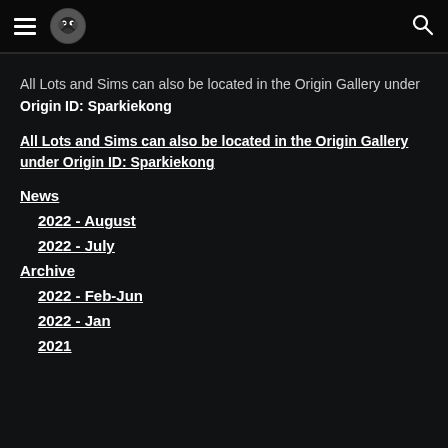Navigation header with hamburger menu, logo, and search icon
All Lots and Sims can also be located in the Origin Gallery under Origin ID: Sparkiekong
All Lots and Sims can also be located in the Origin Gallery under Origin ID: Sparkiekong
News
2022 - August
2022 - July
Archive
2022 - Feb-Jun
2022 - Jan
2021